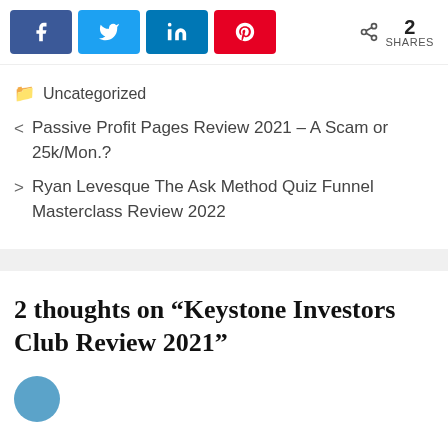[Figure (other): Social share buttons: Facebook (blue), Twitter (light blue), LinkedIn (blue), Pinterest (red), with share count showing 2 SHARES]
🗀 Uncategorized
< Passive Profit Pages Review 2021 – A Scam or 25k/Mon.?
> Ryan Levesque The Ask Method Quiz Funnel Masterclass Review 2022
2 thoughts on “Keystone Investors Club Review 2021”